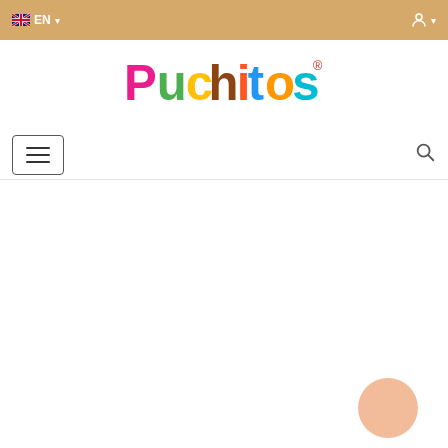EN language selector and account icon on sandy/tan navigation bar
[Figure (logo): Puchitos colorful brand logo with stylized letters in pink, green, yellow, blue, red and orange colors with registered trademark symbol]
[Figure (other): Navigation bar with hamburger menu button on left and search icon on right]
[Figure (other): Light peach/salmon colored circle chat bubble in bottom right area of white content region]